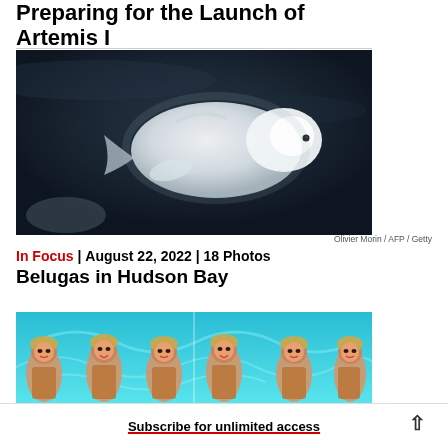Preparing for the Launch of Artemis I
[Figure (photo): Underwater photo of a beluga whale, white creature against dark water background]
Olivier Morin / AFP / Getty
In Focus | August 22, 2022 | 18 Photos
Belugas in Hudson Bay
[Figure (photo): Synchronized swimmers in a pool with blue water background, wearing sparkly costumes]
Subscribe for unlimited access